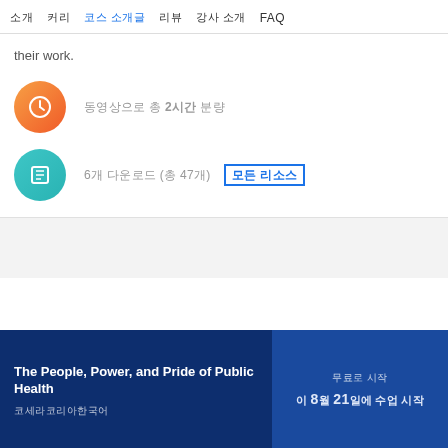소개  커리큘럼  코스 소개글  리뷰  강사 소개  FAQ
their work.
동영상으로 총 2시간 분량
6개 다운로드 (총 47개)  모든 리소스
The People, Power, and Pride of Public Health
코세라코리아한국어
무료로 시작  이 8월 21일에 수업 시작